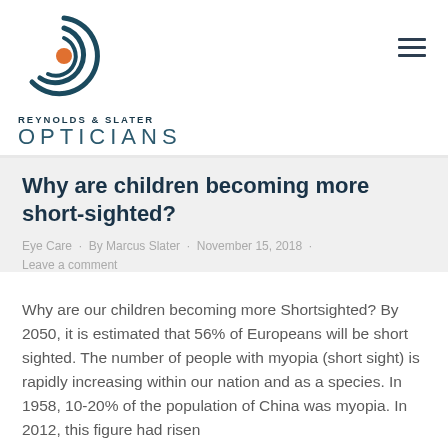[Figure (logo): Reynolds & Slater Opticians logo — concentric spiral circles in dark teal with an orange dot center]
REYNOLDS & SLATER
OPTICIANS
Why are children becoming more short-sighted?
Eye Care · By Marcus Slater · November 15, 2018 · Leave a comment
Why are our children becoming more Shortsighted? By 2050, it is estimated that 56% of Europeans will be short sighted. The number of people with myopia (short sight) is rapidly increasing within our nation and as a species. In 1958, 10-20% of the population of China was myopia. In 2012, this figure had risen